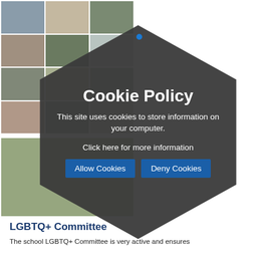[Figure (photo): Photo collage background showing multiple outdoor event photos with people at what appears to be a school or community event, plus a grassy field photo below]
[Figure (infographic): Dark hexagonal cookie policy dialog overlay with title 'Cookie Policy', body text about cookies, a link 'Click here for more information', and two buttons: 'Allow Cookies' and 'Deny Cookies']
LGBTQ+ Committee
The school LGBTQ+ Committee is very active and ensures